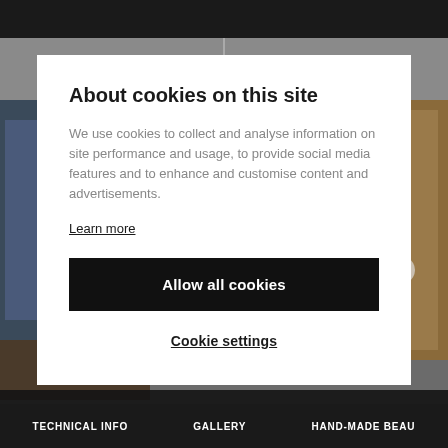[Figure (photo): Interior room photo background partially obscured by dark overlay and modal dialog]
About cookies on this site
We use cookies to collect and analyse information on site performance and usage, to provide social media features and to enhance and customise content and advertisements.
Learn more
Allow all cookies
Cookie settings
TECHNICAL INFO   GALLERY   HAND-MADE BEAU